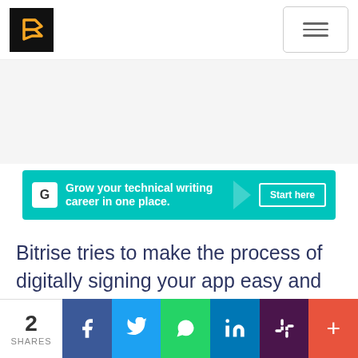[Figure (logo): Bitrise logo — black square with orange angular B symbol]
[Figure (screenshot): Hamburger menu button (three horizontal lines) in a rounded rectangle border]
[Figure (infographic): Teal/cyan ad banner: Grow your technical writing career in one place. Start here button on right.]
Bitrise tries to make the process of digitally signing your app easy and convenient.
[Figure (infographic): Social share bar: 2 SHARES count, Facebook, Twitter, WhatsApp, LinkedIn, Slack, and more (+) buttons]